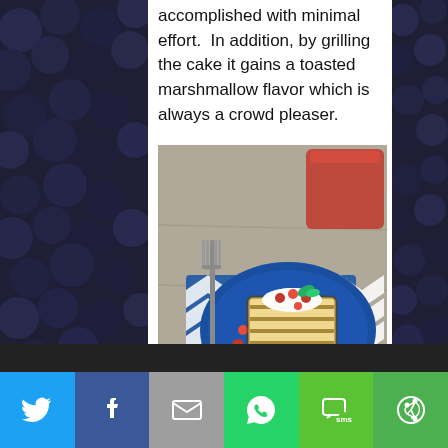accomplished with minimal effort.  In addition, by grilling the cake it gains a toasted marshmallow flavor which is always a crowd pleaser.
[Figure (photo): A grilled pound cake slice topped with whipped cream and red currant berries, served on a blue plate with a fork on a blue chevron napkin, with a glass of red juice in background]
[Figure (infographic): Social media share bar with icons for Twitter, Facebook, Email, WhatsApp, SMS, and More]
[Figure (photo): Dark background image of blueberries/dark berries on left and right side panels]